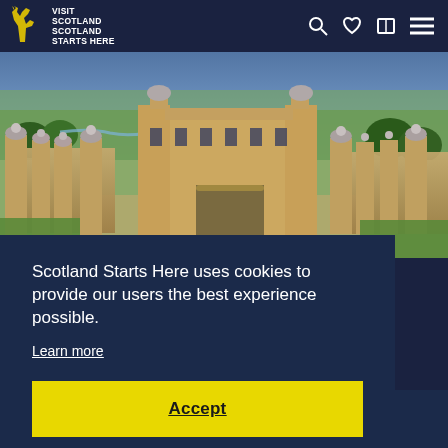VISIT SCOTLAND | SCOTLAND STARTS HERE
[Figure (photo): Aerial view of a large Scottish castle (Floors Castle) surrounded by green fields and parkland, with blue sky and clouds above. The castle has multiple towers with decorative turrets.]
Scotland Starts Here uses cookies to provide our users the best experience possible.
Learn more
Accept